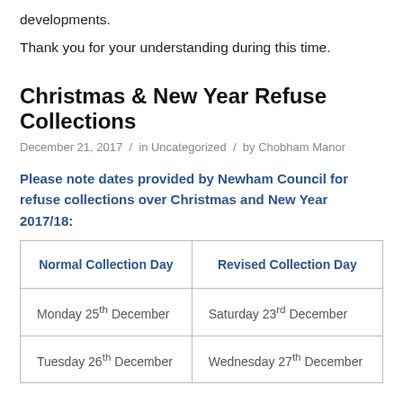developments.
Thank you for your understanding during this time.
Christmas & New Year Refuse Collections
December 21, 2017 / in Uncategorized / by Chobham Manor
Please note dates provided by Newham Council for refuse collections over Christmas and New Year 2017/18:
| Normal Collection Day | Revised Collection Day |
| --- | --- |
| Monday 25th December | Saturday 23rd December |
| Tuesday 26th December | Wednesday 27th December |